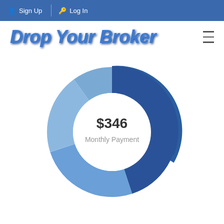Sign Up | Log In
Drop Your Broker
[Figure (donut-chart): $346 Monthly Payment]